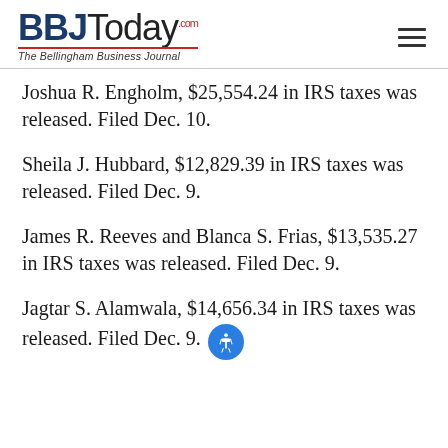BBJToday.com — The Bellingham Business Journal
Joshua R. Engholm, $25,554.24 in IRS taxes was released. Filed Dec. 10.
Sheila J. Hubbard, $12,829.39 in IRS taxes was released. Filed Dec. 9.
James R. Reeves and Blanca S. Frias, $13,535.27 in IRS taxes was released. Filed Dec. 9.
Jagtar S. Alamwala, $14,656.34 in IRS taxes was released. Filed Dec. 9.